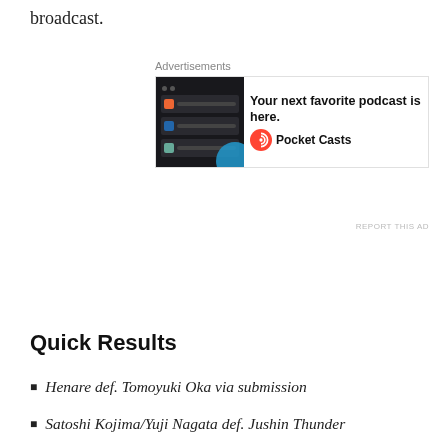broadcast.
[Figure (other): Advertisement for Pocket Casts podcast app. Shows a dark phone mockup on the left, bold text 'Your next favorite podcast is here.' in the center, and the Pocket Casts logo and name on the right.]
Quick Results
Henare def. Tomoyuki Oka via submission
Satoshi Kojima/Yuji Nagata def. Jushin Thunder